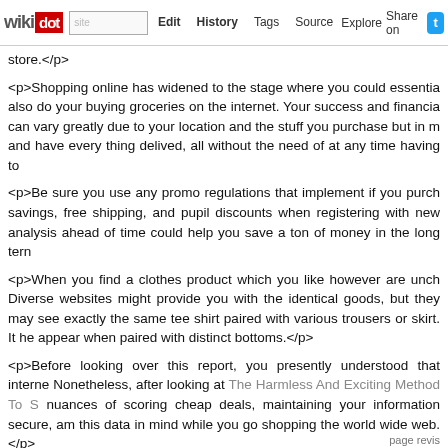wikidot | Edit | History | Tags | Source | Explore | Share on [Twitter]
store.</p>

<p>Shopping online has widened to the stage where you could essentially also do your buying groceries on the internet. Your success and financial can vary greatly due to your location and the stuff you purchase but in m and have every thing delived, all without the need of at any time having to

<p>Be sure you use any promo regulations that implement if you purch savings, free shipping, and pupil discounts when registering with new analysis ahead of time could help you save a ton of money in the long tern

<p>When you find a clothes product which you like however are unch Diverse websites might provide you with the identical goods, but they may see exactly the same tee shirt paired with various trousers or skirt. It he appear when paired with distinct bottoms.</p>

<p>Before looking over this report, you presently understood that internet Nonetheless, after looking at The Harmless And Exciting Method To S nuances of scoring cheap deals, maintaining your information secure, am this data in mind while you go shopping the world wide web.</p>
Comments: 0
Add a New Comment
page revis